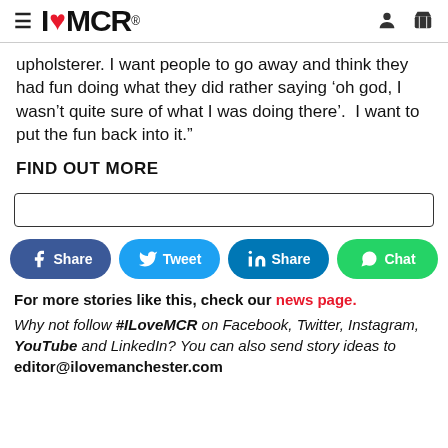I Love MCR
upholsterer. I want people to go away and think they had fun doing what they did rather saying ‘oh god, I wasn’t quite sure of what I was doing there’.  I want to put the fun back into it.”
FIND OUT MORE
[Figure (other): Search input bar]
[Figure (infographic): Social share buttons: Facebook Share, Twitter Tweet, LinkedIn Share, WhatsApp Chat]
For more stories like this, check our news page.
Why not follow #ILoveMCR on Facebook, Twitter, Instagram, YouTube and LinkedIn? You can also send story ideas to editor@ilovemanchester.com